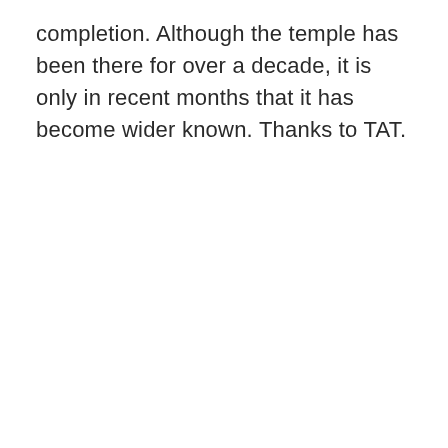completion. Although the temple has been there for over a decade, it is only in recent months that it has become wider known. Thanks to TAT.